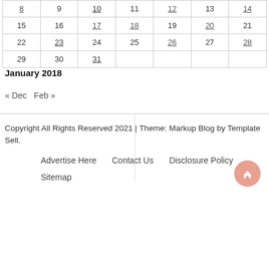| 8 | 9 | 10 | 11 | 12 | 13 | 14 |
| 15 | 16 | 17 | 18 | 19 | 20 | 21 |
| 22 | 23 | 24 | 25 | 26 | 27 | 28 |
| 29 | 30 | 31 |  |  |  |  |
January 2018
« Dec   Feb »
Copyright All Rights Reserved 2021 | Theme: Markup Blog by Template Sell.
Advertise Here   Contact Us   Disclosure Policy
Sitemap